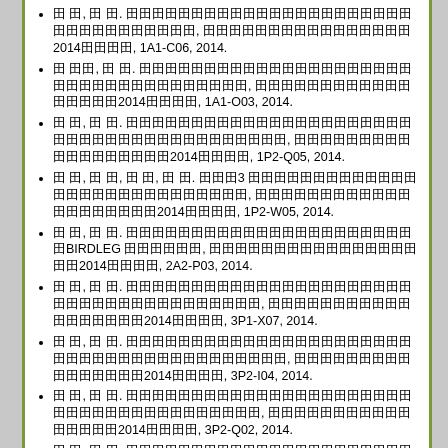田 田, 田 田. 田田田田田田田田田田田田田田田田田田田田田田田田田田田田田田田田田, 田田田田田田田田田田田田田田田田2014田田田田, 1A1-C06, 2014.
田 田田, 田 田. 田田田田田田田田田田田田田田田田田田田田田田田田田田田田田田田田田田田田, 田田田田田田田田田田田田田田田田田2014田田田田, 1A1-O03, 2014.
田 田, 田 田. 田田田田田田田田田田田田田田田田田田田田田田田田田田田田田田田田田田田田田田田田, 田田田田田田田田田田田田田田田田田田2014田田田田, 1P2-Q05, 2014.
田 田, 田 田, 田 田, 田 田. 田田田3 田田田田田田田田田田田田田田田田田田田田田田田田田田田田, 田田田田田田田田田田田田田田田田田田田田2014田田田田, 1P2-W05, 2014.
田 田, 田 田. 田田田田田田田田田田田田田田田田田田田田田田田BIRDLEG 田田田田田田, 田田田田田田田田田田田田田田田田田田2014田田田田, 2A2-P03, 2014.
田 田, 田 田. 田田田田田田田田田田田田田田田田田田田田田田田田田田田田田田田田田田田田田田, 田田田田田田田田田田田田田田田田田田2014田田田田, 3P1-X07, 2014.
田 田, 田 田. 田田田田田田田田田田田田田田田田田田田田田田田田田田田田田田田田田田田田田田田田, 田田田田田田田田田田田田田田田田2014田田田田, 3P2-I04, 2014.
田 田, 田 田. 田田田田田田田田田田田田田田田田田田田田田田田田田田田田田田田田田田田田田田, 田田田田田田田田田田田田田田田田2014田田田田, 3P2-Q02, 2014.
田 田, 田 田. 田田田田田田田田田田田田田田田田田田田田田田田, 田田田田田田田田田田田田田田田田田田田2014田田田田, 3P2-S03, 2014.
2013年度 ↑
田 田, 田 田. 田田田田田田田田田田田田田田田田田田田田, 田田田田田田田田田20田田田田田田田田田, 20702, 2014.